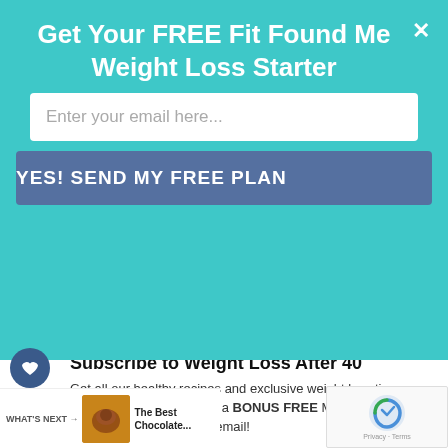Get Your FREE Fit Found Me Weight Loss Starter
Enter your email here...
YES! SEND MY FREE PLAN
[Figure (photo): Person running/jumping on a beach, legs visible mid-air, ocean waves in background]
Subscribe to Weight Loss After 40
Get all our healthy recipes and exclusive weight loss tips straight to your inbox plus a BONUS FREE Meal Planning Kit download in your first email!
WHAT'S NEXT → The Best Chocolate...